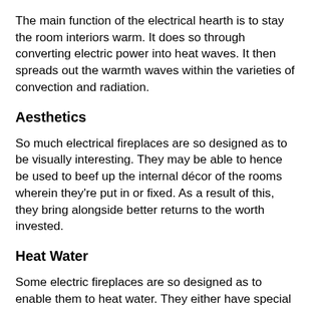The main function of the electrical hearth is to stay the room interiors warm. It does so through converting electric power into heat waves. It then spreads out the warmth waves within the varieties of convection and radiation.
Aesthetics
So much electrical fireplaces are so designed as to be visually interesting. They may be able to hence be used to beef up the internal décor of the rooms wherein they're put in or fixed. As a result of this, they bring alongside better returns to the worth invested.
Heat Water
Some electric fireplaces are so designed as to enable them to heat water. They either have special